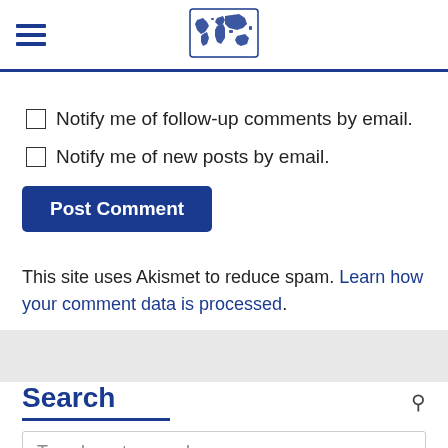Navigation header with hamburger menu and world map logo
Notify me of follow-up comments by email.
Notify me of new posts by email.
Post Comment
This site uses Akismet to reduce spam. Learn how your comment data is processed.
Search
Type here to search...